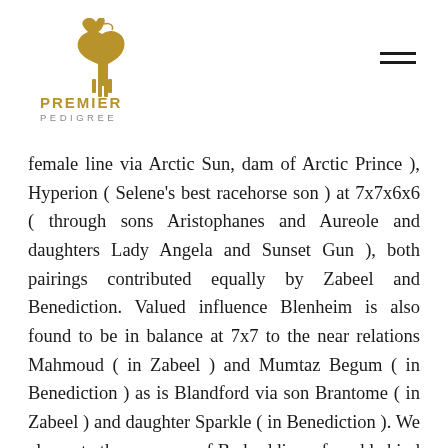Premier Pedigree
female line via Arctic Sun, dam of Arctic Prince ), Hyperion ( Selene's best racehorse son ) at 7x7x6x6 ( through sons Aristophanes and Aureole and daughters Lady Angela and Sunset Gun ), both pairings contributed equally by Zabeel and Benediction. Valued influence Blenheim is also found to be in balance at 7x7 to the near relations Mahmoud ( in Zabeel ) and Mumtaz Begum ( in Benediction ) as is Blandford via son Brantome ( in Zabeel ) and daughter Sparkle ( in Benediction ). We also note the presence of Badruddin as found behind My Babu on both sides of Might And Power's pedigree. As a male scion, his presence should have meshed well with his siblings the